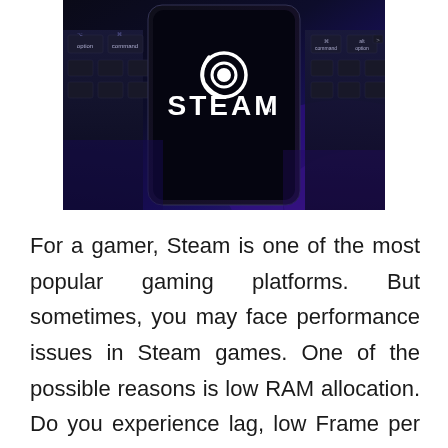[Figure (photo): A smartphone displaying the Steam logo and wordmark on its screen, placed on a laptop keyboard with blue-purple lighting. The keyboard has visible keys including 'option', 'command', 'alt' keys visible on both sides.]
For a gamer, Steam is one of the most popular gaming platforms. But sometimes, you may face performance issues in Steam games. One of the possible reasons is low RAM allocation. Do you experience lag, low Frame per Second, or unwanted crash issues? Want to play games smoothly by allocating more RAM to Steam games? Thinking about how to do it?